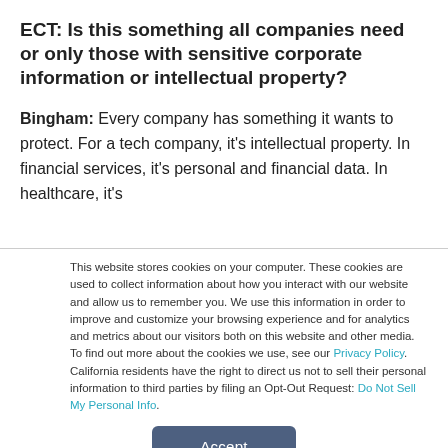ECT: Is this something all companies need or only those with sensitive corporate information or intellectual property?
Bingham: Every company has something it wants to protect. For a tech company, it's intellectual property. In financial services, it's personal and financial data. In healthcare, it's
This website stores cookies on your computer. These cookies are used to collect information about how you interact with our website and allow us to remember you. We use this information in order to improve and customize your browsing experience and for analytics and metrics about our visitors both on this website and other media. To find out more about the cookies we use, see our Privacy Policy. California residents have the right to direct us not to sell their personal information to third parties by filing an Opt-Out Request: Do Not Sell My Personal Info.
Accept